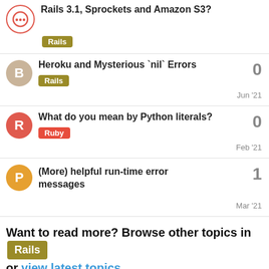Rails 3.1, Sprockets and Amazon S3? [Rails tag]
Heroku and Mysterious `nil` Errors [Rails tag] 0 Jun '21
What do you mean by Python literals? [Ruby tag] 0 Feb '21
(More) helpful run-time error messages 1 Mar '21
Want to read more? Browse other topics in Rails or view latest topics.
This forum is not affiliated to the Ruby language, Ruby on Rails framework, nor any Ruby applications discussed here.